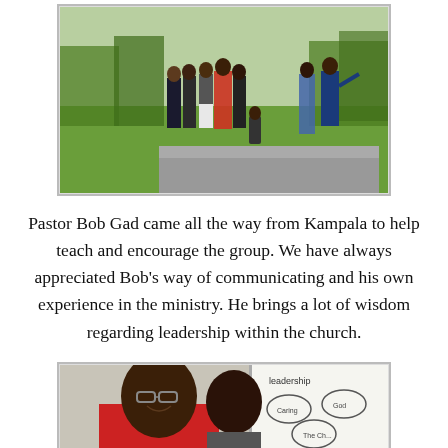[Figure (photo): Group of people standing outdoors on a lawn with trees in the background, beside a raised garden bed with a brick border.]
Pastor Bob Gad came all the way from Kampala to help teach and encourage the group.  We have always appreciated Bob’s way of communicating and his own experience in the ministry.  He brings a lot of wisdom regarding leadership within the church.
[Figure (photo): Two men seated, one wearing glasses and a red shirt smiling at the camera, the other facing a whiteboard with diagrams and text written on it.]